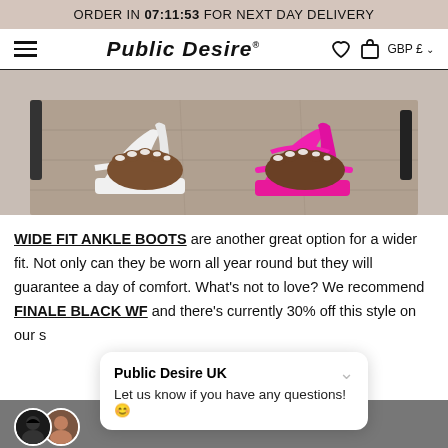ORDER IN 07:11:53 FOR NEXT DAY DELIVERY
[Figure (logo): Public Desire logo with hamburger menu, heart icon, bag icon, GBP currency selector]
[Figure (photo): Close-up photo of feet wearing two different sandals on a wooden floor — one white strappy heel on the left and one pink strappy heel on the right]
WIDE FIT ANKLE BOOTS are another great option for a wider fit. Not only can they be worn all year round but they will guarantee a day of comfort. What's not to love? We recommend FINALE BLACK WF and there's currently 30% off this style on our s
[Figure (screenshot): Chat popup from Public Desire UK saying: Let us know if you have any questions! with smiley emoji. Two customer service agent avatars visible at bottom left.]